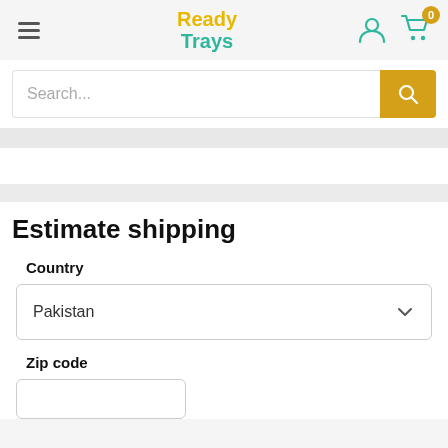ReadyTrays - navigation header with hamburger menu, logo, user icon, and cart (0 items)
Search...
Estimate shipping
Country
Pakistan
Zip code